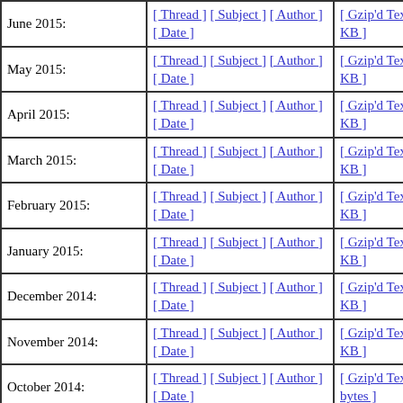| Month | Sort options | Archive |
| --- | --- | --- |
| June 2015: | [ Thread ] [ Subject ] [ Author ] [ Date ] | [ Gzip'd Text 80 KB ] |
| May 2015: | [ Thread ] [ Subject ] [ Author ] [ Date ] | [ Gzip'd Text 20 KB ] |
| April 2015: | [ Thread ] [ Subject ] [ Author ] [ Date ] | [ Gzip'd Text 13 KB ] |
| March 2015: | [ Thread ] [ Subject ] [ Author ] [ Date ] | [ Gzip'd Text 10 KB ] |
| February 2015: | [ Thread ] [ Subject ] [ Author ] [ Date ] | [ Gzip'd Text 22 KB ] |
| January 2015: | [ Thread ] [ Subject ] [ Author ] [ Date ] | [ Gzip'd Text 24 KB ] |
| December 2014: | [ Thread ] [ Subject ] [ Author ] [ Date ] | [ Gzip'd Text 68 KB ] |
| November 2014: | [ Thread ] [ Subject ] [ Author ] [ Date ] | [ Gzip'd Text 2 KB ] |
| October 2014: | [ Thread ] [ Subject ] [ Author ] [ Date ] | [ Gzip'd Text 710 bytes ] |
| September 2014: | [ Thread ] [ Subject ] [ Author ] [ Date ] | [ Gzip'd Text 4 KB ] |
| August 2014: | [ Thread ] [ Subject ] [ Author ] [ Date ] | [ Gzip'd Text 11 KB ] |